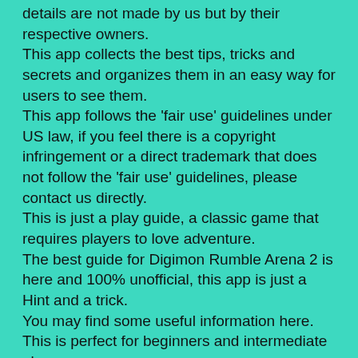details are not made by us but by their respective owners.
This app collects the best tips, tricks and secrets and organizes them in an easy way for users to see them.
This app follows the 'fair use' guidelines under US law, if you feel there is a copyright infringement or a direct trademark that does not follow the 'fair use' guidelines, please contact us directly.
This is just a play guide, a classic game that requires players to love adventure.
The best guide for Digimon Rumble Arena 2 is here and 100% unofficial, this app is just a Hint and a trick.
You may find some useful information here. This is perfect for beginners and intermediate players.
This app can feel the best experience in play the games.
- It's not a gamer !! This is a game guidare,